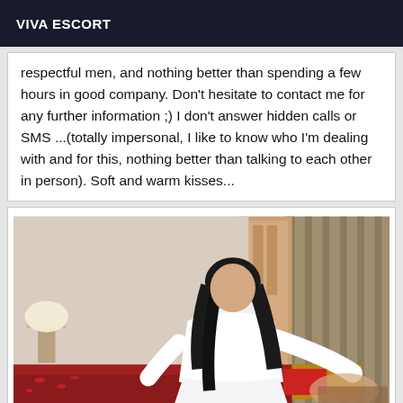VIVA ESCORT
respectful men, and nothing better than spending a few hours in good company. Don't hesitate to contact me for any further information ;) I don't answer hidden calls or SMS ...(totally impersonal, I like to know who I'm dealing with and for this, nothing better than talking to each other in person). Soft and warm kisses...
[Figure (photo): A woman in a white outfit in a hotel room setting with a red bed and curtains in the background.]